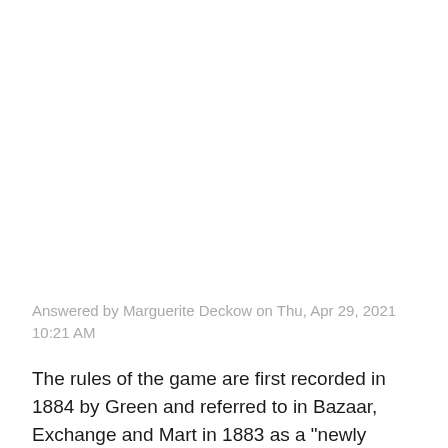Answered by Marguerite Deckow on Thu, Apr 29, 2021 10:21 AM
The rules of the game are first recorded in 1884 by Green and referred to in Bazaar, Exchange and Mart in 1883 as a "newly invented game". However, it may well be much older and derived from the